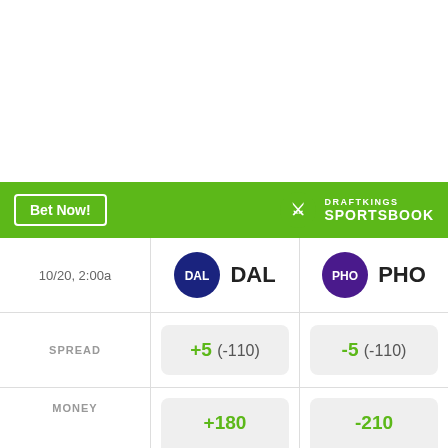[Figure (other): DraftKings Sportsbook sports betting widget showing DAL vs PHO matchup on 10/20 2:00a with spread and money line odds]
Bet Now!
DRAFTKINGS SPORTSBOOK
10/20, 2:00a
DAL
PHO
SPREAD
+5 (-110)
-5 (-110)
MONEY